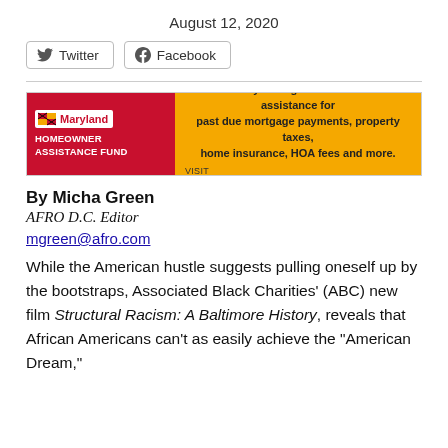August 12, 2020
[Figure (other): Social sharing buttons: Twitter and Facebook]
[Figure (other): Maryland Homeowner Assistance Fund advertisement banner. Text: You may be eligible for financial assistance for past due mortgage payments, property taxes, home insurance, HOA fees and more. VISIT homeownerassistance.maryland.gov]
By Micha Green
AFRO D.C. Editor
mgreen@afro.com
While the American hustle suggests pulling oneself up by the bootstraps, Associated Black Charities' (ABC) new film Structural Racism: A Baltimore History, reveals that African Americans can't as easily achieve the "American Dream,"